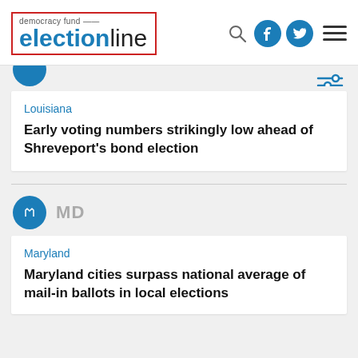democracy fund electionline
MD
Louisiana
Early voting numbers strikingly low ahead of Shreveport's bond election
MD
Maryland
Maryland cities surpass national average of mail-in ballots in local elections